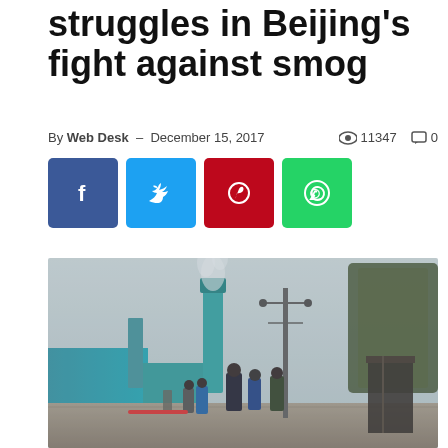struggles in Beijing's fight against smog
By Web Desk - December 15, 2017   ● 11347   💬 0
[Figure (other): Social media sharing buttons: Facebook (blue), Twitter (cyan), Pinterest (red), WhatsApp (green)]
[Figure (photo): People walking on a street in Beijing near an industrial facility with a tall chimney emitting smoke, bare trees visible on the right, hazy winter atmosphere]